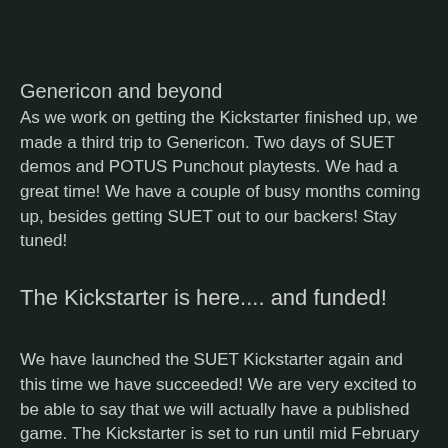Genericon and beyond
As we work on getting the Kickstarter finished up, we made a third trip to Genericon. Two days of SUET demos and POTUS Punchout playtests. We had a great time! We have a couple of busy months coming up, besides getting SUET out to our backers! Stay tuned!
The Kickstarter is here.... and funded!
We have launched the SUET Kickstarter again and this time we have succeeded! We are very excited to be able to say that we will actually have a published game. The Kickstarter is set to run until mid February so if you want to pick up a copy of the game for a discounted price, here is your chance!